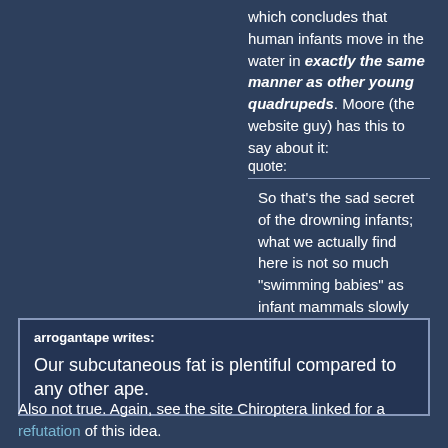which concludes that human infants move in the water in exactly the same manner as other young quadrupeds. Moore (the website guy) has this to say about it:
quote:
[horizontal rule]
So that's the sad secret of the drowning infants; what we actually find here is not so much "swimming babies" as infant mammals slowly drowning without a struggle.
[horizontal rule]
-----
arrogantape writes:

Our subcutaneous fat is plentiful compared to any other ape.
Also not true. Again, see the site Chiroptera linked for a refutation of this idea.